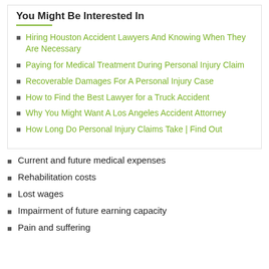You Might Be Interested In
Hiring Houston Accident Lawyers And Knowing When They Are Necessary
Paying for Medical Treatment During Personal Injury Claim
Recoverable Damages For A Personal Injury Case
How to Find the Best Lawyer for a Truck Accident
Why You Might Want A Los Angeles Accident Attorney
How Long Do Personal Injury Claims Take | Find Out
Current and future medical expenses
Rehabilitation costs
Lost wages
Impairment of future earning capacity
Pain and suffering